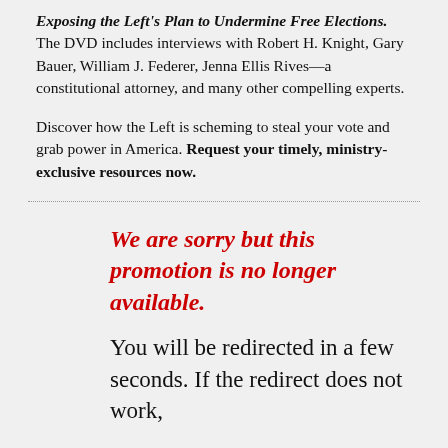Exposing the Left's Plan to Undermine Free Elections. The DVD includes interviews with Robert H. Knight, Gary Bauer, William J. Federer, Jenna Ellis Rives—a constitutional attorney, and many other compelling experts.
Discover how the Left is scheming to steal your vote and grab power in America. Request your timely, ministry-exclusive resources now.
We are sorry but this promotion is no longer available.
You will be redirected in a few seconds. If the redirect does not work,